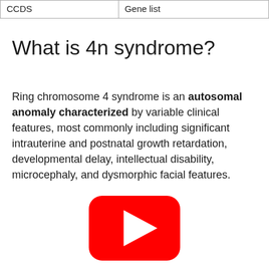| CCDS | Gene list |
| --- | --- |
What is 4n syndrome?
Ring chromosome 4 syndrome is an autosomal anomaly characterized by variable clinical features, most commonly including significant intrauterine and postnatal growth retardation, developmental delay, intellectual disability, microcephaly, and dysmorphic facial features.
[Figure (other): YouTube play button icon (red rounded rectangle with white play triangle)]